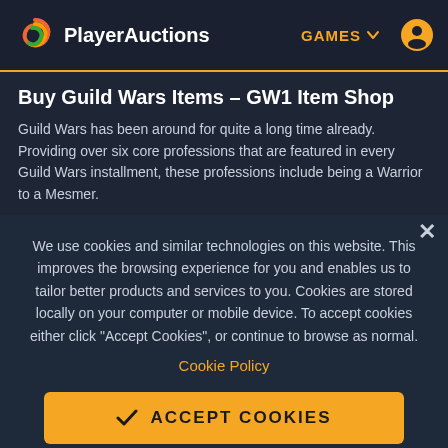PlayerAuctions — GAMES
Buy Guild Wars Items – GW1 Item Shop
Guild Wars has been around for quite a long time already. Providing over six core professions that are featured in every Guild Wars installment, these professions include being a Warrior to a Mesmer.
We use cookies and similar technologies on this website. This improves the browsing experience for you and enables us to tailor better products and services to you. Cookies are stored locally on your computer or mobile device. To accept cookies either click "Accept Cookies", or continue to browse as normal.
Cookie Policy
✓ ACCEPT COOKIES
Cookie Settings and Details